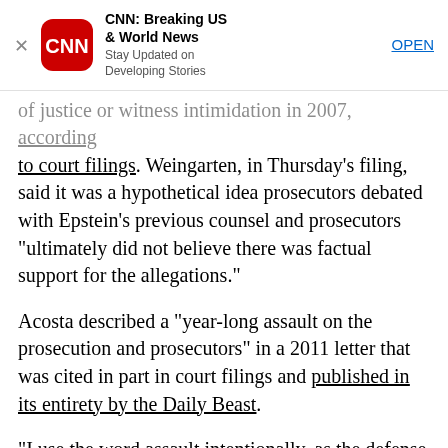[Figure (screenshot): CNN app advertisement banner with CNN logo, title 'CNN: Breaking US & World News', subtitle 'Stay Updated on Developing Stories', and an OPEN button]
of justice or witness intimidation in 2007, according to court filings. Weingarten, in Thursday's filing, said it was a hypothetical idea prosecutors debated with Epstein's previous counsel and prosecutors "ultimately did not believe there was factual support for the allegations."
Acosta described a "year-long assault on the prosecution and prosecutors" in a 2011 letter that was cited in part in court filings and published in its entirety by the Daily Beast.
"I use the word assault intentionally, as the defense in this case was more aggressive than any which I, or the prosecutors in my office, had previously encountered," he wrote.